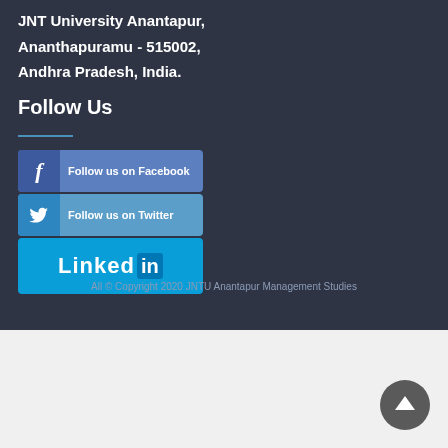JNT University Anantapur, Ananthapuramu - 515002, Andhra Pradesh, India.
Follow Us
[Figure (infographic): Social media follow buttons for Facebook, Twitter, and LinkedIn]
All © Copyright 2020 JNTU Anantapur Management Studies
[Figure (other): Back to top button - circular grey button with upward chevron arrow]